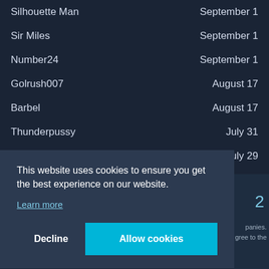Silhouette Man	September 1
Sir Miles	September 1
Number24	September 1
Golrush007	August 17
Barbel	August 17
Thunderpussy	July 31
CoolHandBond	July 29
Napoleon Plural	July 27
the99dots	July 6
This website uses cookies to ensure you get the best experience on our website.
Learn more
Decline
Allow cookies